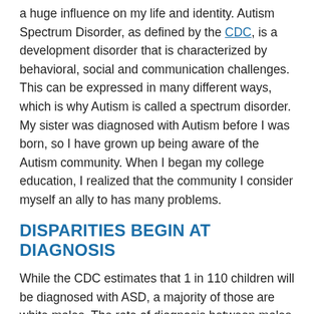a huge influence on my life and identity. Autism Spectrum Disorder, as defined by the CDC, is a development disorder that is characterized by behavioral, social and communication challenges. This can be expressed in many different ways, which is why Autism is called a spectrum disorder. My sister was diagnosed with Autism before I was born, so I have grown up being aware of the Autism community. When I began my college education, I realized that the community I consider myself an ally to has many problems.
DISPARITIES BEGIN AT DIAGNOSIS
While the CDC estimates that 1 in 110 children will be diagnosed with ASD, a majority of those are white males. The rate of diagnosis between males and females is 4 to 1. There are many possible reasons for this difference in diagnosis, but one reason may be the difference in display of symptoms between the genders. Males are more likely to